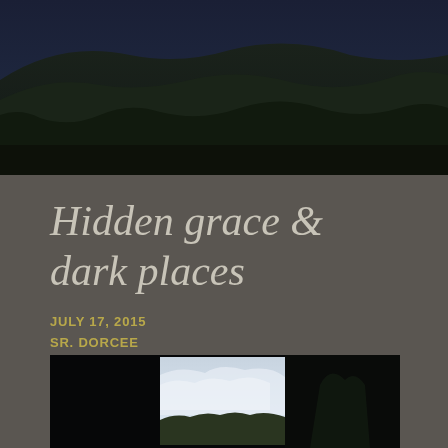[Figure (photo): Dark moody landscape photo of forested mountains at dusk/night with dark blue sky and dark green trees covering hillsides]
Hidden grace & dark places
JULY 17, 2015
SR. DORCEE
[Figure (photo): Dark interior photograph showing a bright window/opening with cloudy sky and landscape visible through it, very dark surroundings]